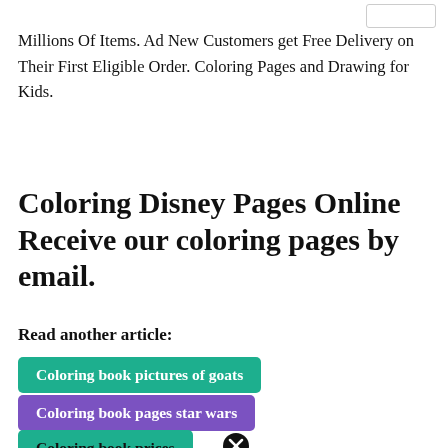Millions Of Items. Ad New Customers get Free Delivery on Their First Eligible Order. Coloring Pages and Drawing for Kids.
Coloring Disney Pages Online Receive our coloring pages by email.
Read another article:
Coloring book pictures of goats
Coloring book pages star wars
Coloring book prices